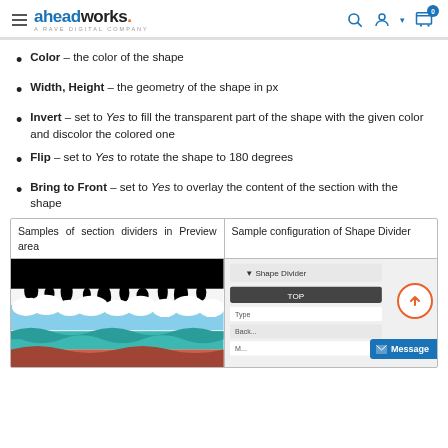aheadworks. A RAVE DIGITAL COMPANY
Color - the color of the shape
Width, Height - the geometry of the shape in px
Invert - set to Yes to fill the transparent part of the shape with the given color and discolor the colored one
Flip - set to Yes to rotate the shape to 180 degrees
Bring to Front - set to Yes to overlay the content of the section with the shape
| Samples of section dividers in Preview area | Sample configuration of Shape Divider |
| --- | --- |
| [preview image with shape dividers] | [shape divider configuration panel] |
[Figure (screenshot): Shape divider configuration panel showing TOP and BOTTOM settings]
[Figure (screenshot): Preview of section dividers with dripping paint, cloud wave, and teal wave styles]